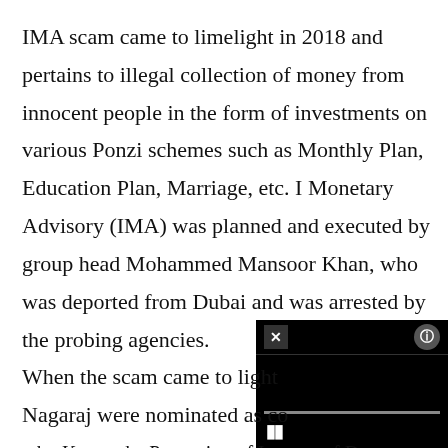IMA scam came to limelight in 2018 and pertains to illegal collection of money from innocent people in the form of investments on various Ponzi schemes such as Monthly Plan, Education Plan, Marriage, etc. I Monetary Advisory (IMA) was planned and executed by group head Mohammed Mansoor Khan, who was deported from Dubai and was arrested by the probing agencies.
[Figure (screenshot): A video player overlay with a black background, showing a close (X) button at top-left, an info button at top-right, a progress bar, and a pause button at bottom-left.]
When the scam came to light... Nagaraj were nominated as co... ...by Karnataka Protection of Interest of Depositors...